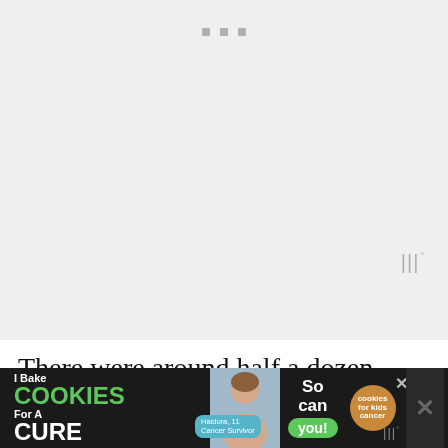[Figure (screenshot): Large image placeholder area with light gray background, three small gray squares centered near top, and a watermark symbol in bottom right corner]
There were around half a dozen Hotlink and Xpax signs during the five-minute walk between the bus stop and my hotel, but I
[Figure (photo): Advertisement banner: I Bake COOKIES For A CURE - Haldora, 11 Cancer Survivor - So can you! - cookies for kids cancer. Dark background with close button.]